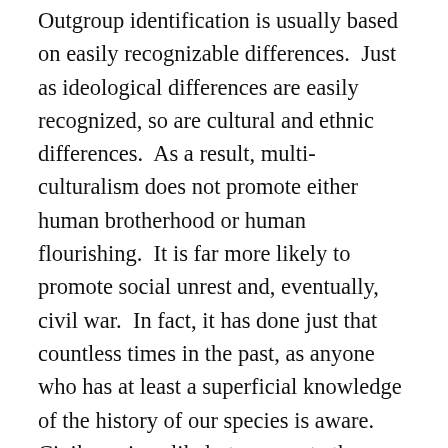Outgroup identification is usually based on easily recognizable differences.  Just as ideological differences are easily recognized, so are cultural and ethnic differences.  As a result, multi-culturalism does not promote either human brotherhood or human flourishing.  It is far more likely to promote social unrest and, eventually, civil war.  In fact, it has done just that countless times in the past, as anyone who has at least a superficial knowledge of the history of our species is aware.  Civil war is unlikely to promote the survival of the human beings effected, nor of the genes they carry.  “Low information voters” appear to be far more capable of appreciating this fundamental fact than the Brennans of the world who despise them.  The